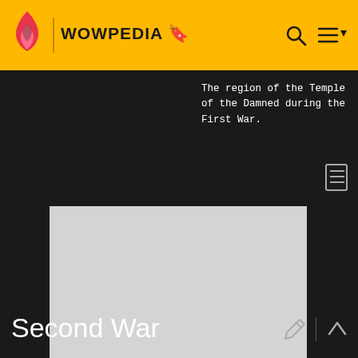WOWPEDIA
The region of the Temple of the Damned during the First War.
[Figure (other): Advertisement placeholder rectangle (gray box)]
ADVERTISEMENT
Second War